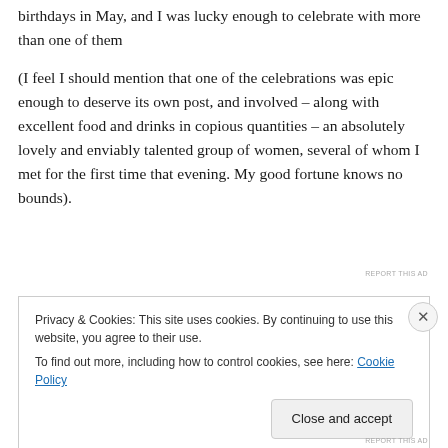birthdays in May, and I was lucky enough to celebrate with more than one of them
(I feel I should mention that one of the celebrations was epic enough to deserve its own post, and involved – along with excellent food and drinks in copious quantities – an absolutely lovely and enviably talented group of women, several of whom I met for the first time that evening. My good fortune knows no bounds).
REPORT THIS AD
Privacy & Cookies: This site uses cookies. By continuing to use this website, you agree to their use.
To find out more, including how to control cookies, see here: Cookie Policy
Close and accept
REPORT THIS AD